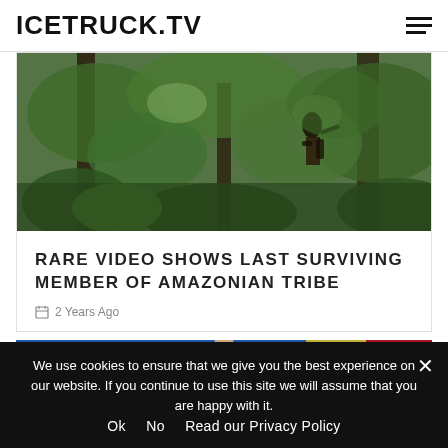ICETRUCK.TV
[Figure (photo): Low-quality video still of a person in a dense jungle/forest environment with trees and green foliage]
RARE VIDEO SHOWS LAST SURVIVING MEMBER OF AMAZONIAN TRIBE
2 Years Ago
[Figure (photo): Partial thumbnail of a second article showing a man in a suit against a colorful background]
We use cookies to ensure that we give you the best experience on our website. If you continue to use this site we will assume that you are happy with it.
Ok   No   Read our Privacy Policy